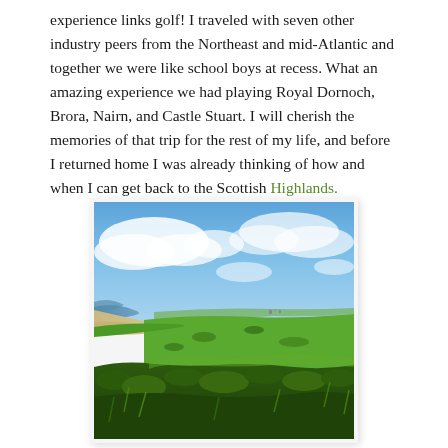experience links golf! I traveled with seven other industry peers from the Northeast and mid-Atlantic and together we were like school boys at recess. What an amazing experience we had playing Royal Dornoch, Brora, Nairn, and Castle Stuart. I will cherish the memories of that trip for the rest of my life, and before I returned home I was already thinking of how and when I can get back to the Scottish Highlands.
[Figure (photo): Aerial/elevated view of a Scottish Highlands links golf course with green fairways, sandy beach coastline on the left, blue sky with clouds above, and scrubby vegetation in the foreground.]